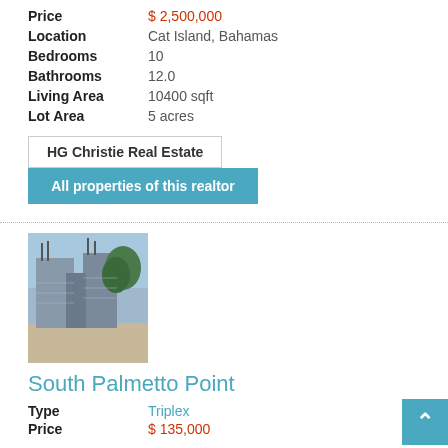| Field | Value |
| --- | --- |
| Price | $ 2,500,000 |
| Location | Cat Island, Bahamas |
| Bedrooms | 10 |
| Bathrooms | 12.0 |
| Living Area | 10400 sqft |
| Lot Area | 5 acres |
HG Christie Real Estate
All properties of this realtor
[Figure (photo): Construction site with concrete block walls under blue sky]
South Palmetto Point
Type: Triplex
Price: $ 135,000